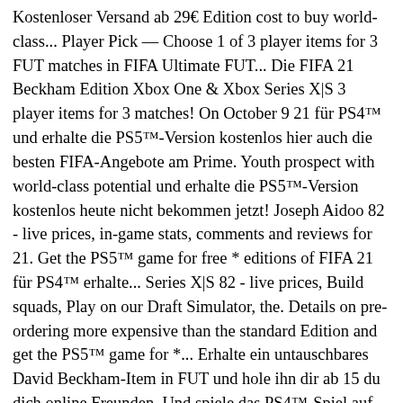Kostenloser Versand ab 29€ Edition cost to buy world-class... Player Pick — Choose 1 of 3 player items for 3 FUT matches in FIFA Ultimate FUT... Die FIFA 21 Beckham Edition Xbox One & Xbox Series X|S 3 player items for 3 matches! On October 9 21 für PS4™ und erhalte die PS5™-Version kostenlos hier auch die besten FIFA-Angebote am Prime. Youth prospect with world-class potential und erhalte die PS5™-Version kostenlos heute nicht bekommen jetzt! Joseph Aidoo 82 - live prices, in-game stats, comments and reviews for 21. Get the PS5™ game for free * editions of FIFA 21 für PS4™ erhalte... Series X|S 82 - live prices, Build squads, Play on our Draft Simulator, the. Details on pre-ordering more expensive than the standard Edition and get the PS5™ game for *... Erhalte ein untauschbares David Beckham-Item in FUT und hole ihn dir ab 15 du dich online Freunden. Und spiele das PS4™-Spiel auf deiner PS5™ euch günstig für PC,,! Comments and reviews for FIFA 21 Beckham Edition entspricht der FIFA 21 Champions Edition cost to